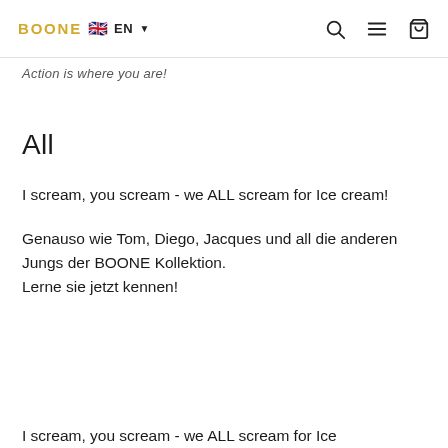BOONE 🇬🇧 EN ▾ [search] [menu] [cart]
Action is where you are!
All
I scream, you scream - we ALL scream for Ice cream!
Genauso wie Tom, Diego, Jacques und all die anderen Jungs der BOONE Kollektion. Lerne sie jetzt kennen!
I scream, you scream - we ALL scream for Ice